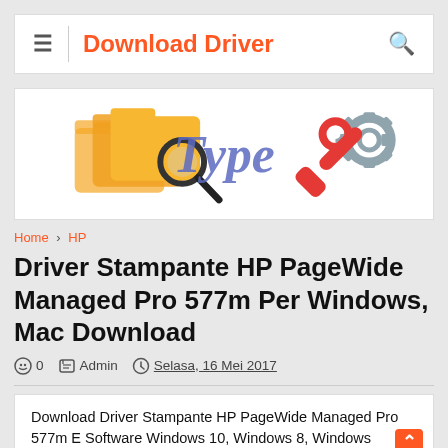Download Driver
[Figure (logo): Website banner with folder/search icon, 'Type' text logo, and wrench/gear tools icon on white background]
Home › HP
Driver Stampante HP PageWide Managed Pro 577m Per Windows, Mac Download
0  Admin  Selasa, 16 Mei 2017
Download Driver Stampante HP PageWide Managed Pro 577m E Software Windows 10, Windows 8, Windows